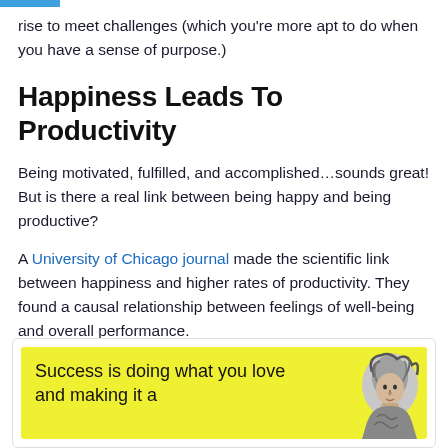rise to meet challenges (which you're more apt to do when you have a sense of purpose.)
Happiness Leads To Productivity
Being motivated, fulfilled, and accomplished…sounds great! But is there a real link between being happy and being productive?
A University of Chicago journal made the scientific link between happiness and higher rates of productivity. They found a causal relationship between feelings of well-being and overall performance.
[Figure (illustration): Yellow quote card with text 'Success is doing what you love and making it a' and a decorative illustration of a person on the right side]